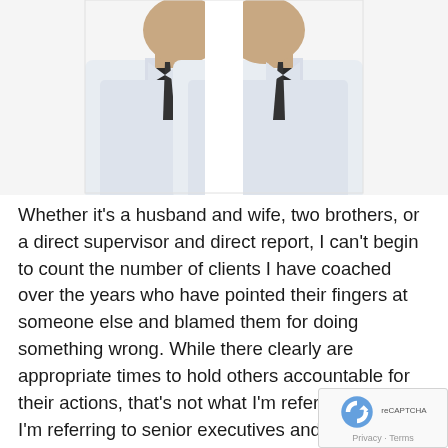[Figure (photo): Two businessmen in white shirts and dark ties facing each other forehead-to-forehead in a confrontational pose against a white background]
Whether it's a husband and wife, two brothers, or a direct supervisor and direct report, I can't begin to count the number of clients I have coached over the years who have pointed their fingers at someone else and blamed them for doing something wrong. While there clearly are appropriate times to hold others accountable for their actions, that's not what I'm referring to here. I'm referring to senior executives and family business leaders who regularly assume the worst about their team members and colleagues, attributing blame as if offender has malicious intent and truly wants to